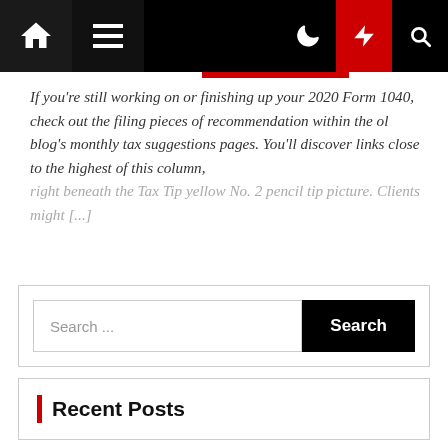Navigation bar with home icon, menu icon, moon icon, lightning/flash icon (red), and search icon
If you're still working on or finishing up your 2020 Form 1040, check out the filing pieces of recommendation within the ol blog's monthly tax suggestions pages. You'll discover links close to the highest of this column, right beneath the Tax Tip yellow No. 2 pencil tip picture. Clients might [...]
Search ...
Recent Posts